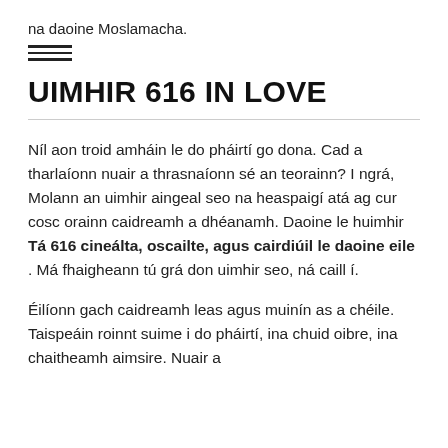na daoine Moslamacha.
UIMHIR 616 IN LOVE
Níl aon troid amháin le do pháirtí go dona. Cad a tharlaíonn nuair a thrasnaíonn sé an teorainn? I ngrá, Molann an uimhir aingeal seo na heaspaigí atá ag cur cosc orainn caidreamh a dhéanamh. Daoine le huimhir Tá 616 cineálta, oscailte, agus cairdiúil le daoine eile . Má fhaigheann tú grá don uimhir seo, ná caill í.
Éilíonn gach caidreamh leas agus muinín as a chéile. Taispeáin roinnt suime i do pháirtí, ina chuid oibre, ina chaitheamh aimsire. Nuair a